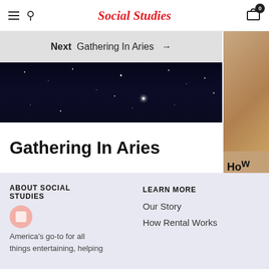Social Studies
Next  Gathering In Aries  →
[Figure (photo): Night sky with stars and dark background, partially visible]
[Figure (photo): Warm-toned image on right side, partially cropped, shows 'How Cow' text]
Gathering In Aries
ABOUT SOCIAL STUDIES
America's go-to for all things entertaining, helping
LEARN MORE
Our Story
How Rental Works